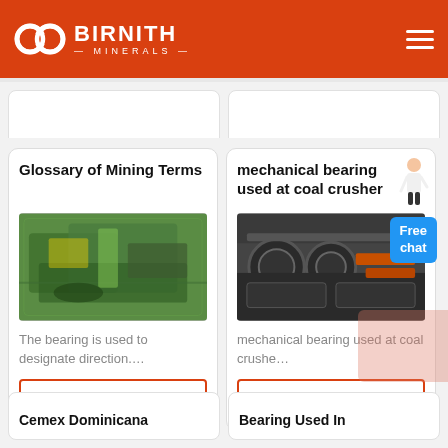BIRNITH MINERALS
[Figure (screenshot): Partial card stubs from previous row]
Glossary of Mining Terms
[Figure (photo): Green heavy mining/industrial machine in factory]
The bearing is used to designate direction....
Get Price
mechanical bearing used at coal crusher
[Figure (photo): Dark coal crusher machines in industrial facility]
mechanical bearing used at coal crushe...
Get Price
Cemex Dominicana
Bearing Used In